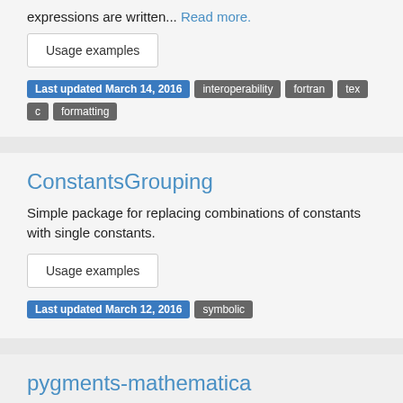expressions are written... Read more.
Usage examples
Last updated March 14, 2016  interoperability  fortran  tex  c  formatting
ConstantsGrouping
Simple package for replacing combinations of constants with single constants.
Usage examples
Last updated March 12, 2016  symbolic
pygments-mathematica
The most up-to-date lexer and highlighter for Mathematica/Wolfram Language source code using the